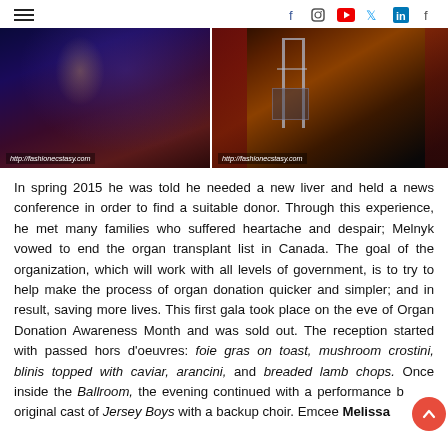Navigation and social media icons header
[Figure (photo): Two side-by-side event/venue photos. Left: darkened audience/stage view with blue and red stage lighting. Right: a podium on a decorated stage with red curtains and ornate decor. Both watermarked with http://fashionecstasy.com]
In spring 2015 he was told he needed a new liver and held a news conference in order to find a suitable donor. Through this experience, he met many families who suffered heartache and despair; Melnyk vowed to end the organ transplant list in Canada. The goal of the organization, which will work with all levels of government, is to try to help make the process of organ donation quicker and simpler; and in result, saving more lives. This first gala took place on the eve of Organ Donation Awareness Month and was sold out. The reception started with passed hors d'oeuvres: foie gras on toast, mushroom crostini, blinis topped with caviar, arancini, and breaded lamb chops. Once inside the Ballroom, the evening continued with a performance by the original cast of Jersey Boys with a backup choir. Emcee Melissa